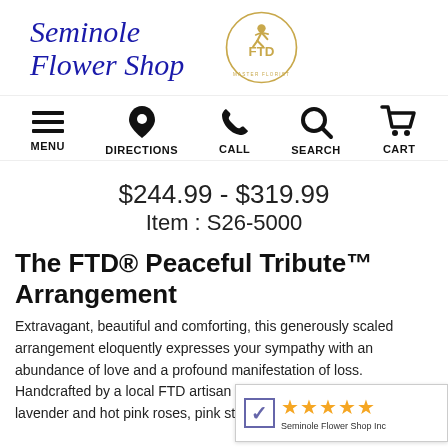[Figure (logo): Seminole Flower Shop logo in cursive blue italic text and FTD Master Florist circular emblem with golden figure]
[Figure (infographic): Navigation bar with icons: hamburger menu (MENU), location pin (DIRECTIONS), phone (CALL), magnifier (SEARCH), shopping cart (CART)]
$244.99 - $319.99
Item : S26-5000
The FTD® Peaceful Tribute™ Arrangement
Extravagant, beautiful and comforting, this generously scaled arrangement eloquently expresses your sympathy with an abundance of love and a profound manifestation of loss. Handcrafted by a local FTD artisan florist, it com profusion of lavender and hot pink roses, pink st
[Figure (other): Shopper Approved rating badge with checkmark icon, 5 gold stars, and text 'Seminole Flower Shop Inc']